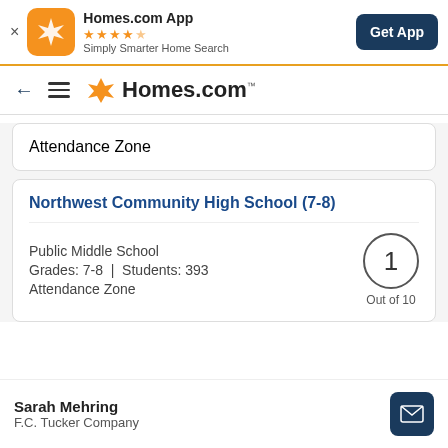Homes.com App — ★★★★☆ — Simply Smarter Home Search — Get App
[Figure (logo): Homes.com app icon (orange rounded square with white star/pinwheel logo)]
← ≡ Homes.com
Attendance Zone
Northwest Community High School (7-8)
Public Middle School
Grades: 7-8 | Students: 393
Attendance Zone
1
Out of 10
Sarah Mehring
F.C. Tucker Company